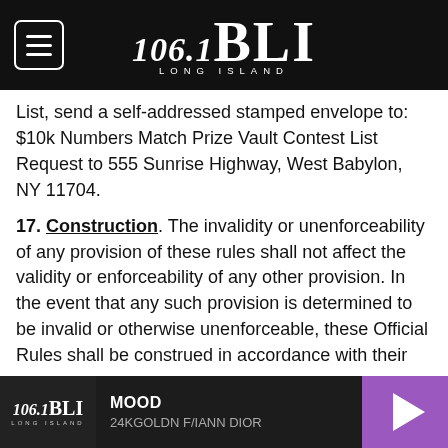106.1 BLI LONG ISLAND
List, send a self-addressed stamped envelope to: $10k Numbers Match Prize Vault Contest List Request to 555 Sunrise Highway, West Babylon, NY 11704.
17. Construction. The invalidity or unenforceability of any provision of these rules shall not affect the validity or enforceability of any other provision. In the event that any such provision is determined to be invalid or otherwise unenforceable, these Official Rules shall be construed in accordance with their terms as if the invalid or unenforceable provision was not contained therein.
18. Sponsor: CMG NY/TX Radio, LLC d/b/a Cox Media
MOOD 24KGOLDN F/IANN DIOR